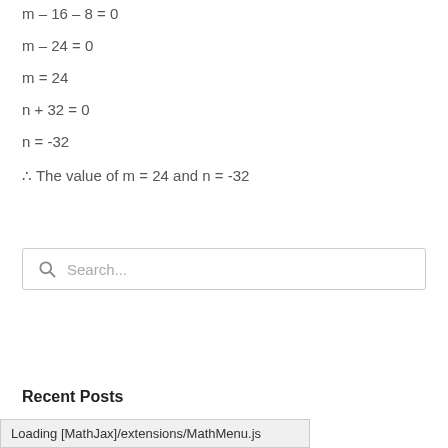∴ The value of m = 24 and n = -32
[Figure (other): Search input box with magnifying glass icon and placeholder text 'Search...']
Recent Posts
Loading [MathJax]/extensions/MathMenu.js